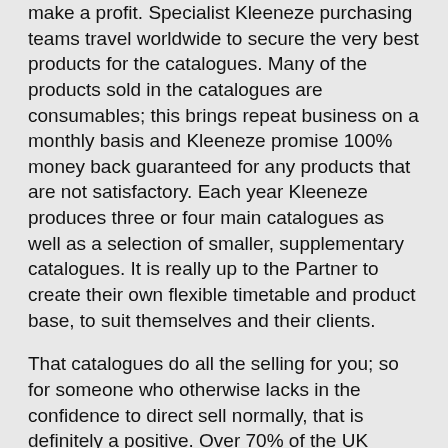make a profit. Specialist Kleeneze purchasing teams travel worldwide to secure the very best products for the catalogues. Many of the products sold in the catalogues are consumables; this brings repeat business on a monthly basis and Kleeneze promise 100% money back guaranteed for any products that are not satisfactory. Each year Kleeneze produces three or four main catalogues as well as a selection of smaller, supplementary catalogues. It is really up to the Partner to create their own flexible timetable and product base, to suit themselves and their clients.
That catalogues do all the selling for you; so for someone who otherwise lacks in the confidence to direct sell normally, that is definitely a positive. Over 70% of the UK already know and use Kleeneze, so there is obviously a demand for the products. But there are still millions of households without Kleeneze, and these are the people with the greatest potential for making money.
You can find out more about making money with Kleeneze on their website: